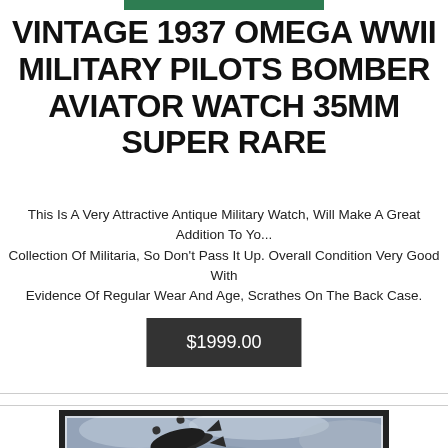[Figure (photo): Partial top image strip showing green/teal color at top of page]
VINTAGE 1937 OMEGA WWII MILITARY PILOTS BOMBER AVIATOR WATCH 35MM SUPER RARE
This Is A Very Attractive Antique Military Watch, Will Make A Great Addition To Your Collection Of Militaria, So Don't Pass It Up. Overall Condition Very Good With Evidence Of Regular Wear And Age, Scrathes On The Back Case.
$1999.00
[Figure (photo): Framed photograph of a World War II military aircraft (bomber) in flight against a cloudy sky, displayed in a black frame with white mat border]